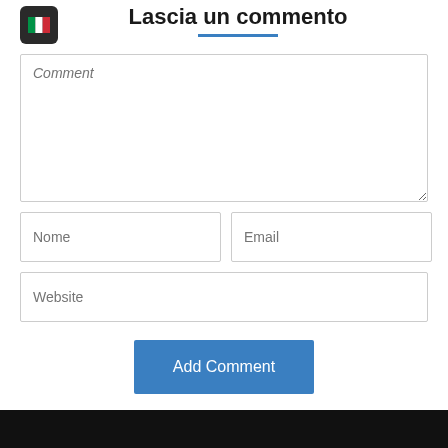[Figure (logo): Italian flag app icon — dark rounded square with Italian tricolor flag (green, white, red vertical stripes)]
Lascia un commento
Comment (placeholder text in italic)
Nome (placeholder)
Email (placeholder)
Website (placeholder)
Add Comment (button)